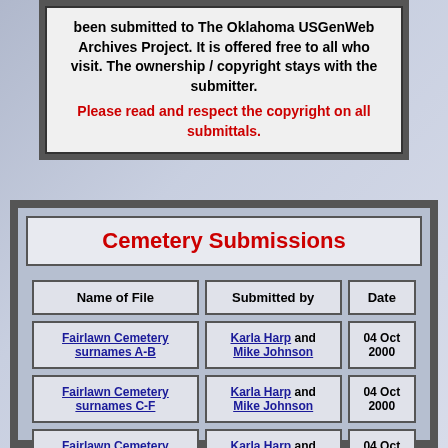been submitted to The Oklahoma USGenWeb Archives Project. It is offered free to all who visit. The ownership / copyright stays with the submitter. Please read and respect the copyright on all submittals.
Cemetery Submissions
| Name of File | Submitted by | Date |
| --- | --- | --- |
| Fairlawn Cemetery surnames A-B | Karla Harp and Mike Johnson | 04 Oct 2000 |
| Fairlawn Cemetery surnames C-F | Karla Harp and Mike Johnson | 04 Oct 2000 |
| Fairlawn Cemetery | Karla Harp and | 04 Oct |